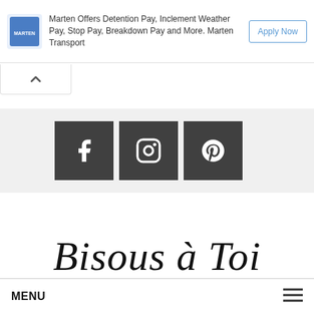[Figure (other): Advertisement banner for Marten Transport showing logo, text about pay benefits, and Apply Now button]
Marten Offers Detention Pay, Inclement Weather Pay, Stop Pay, Breakdown Pay and More. Marten Transport
[Figure (other): Social media icons bar with Facebook, Instagram, and Pinterest icons on gray background]
Bisous à Toi
MENU ☰